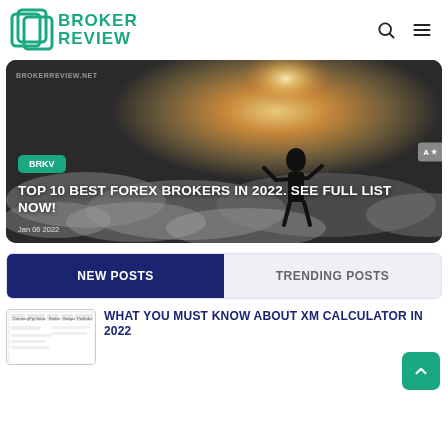BROKER REVIEW
[Figure (screenshot): Hero image of a person silhouetted against a dramatic sky with clouds and sunlight, overlaid with text 'TOP 10 BEST FOREX BROKERS IN 2022. SEE FULL LIST NOW!' and badge 'BRKV', date 'Jan 06 2022', watermark 'BROKERREVIEW.NET']
NEW POSTS
TRENDING POSTS
[Figure (screenshot): Small thumbnail screenshot of XM calculator interface showing currency and trading tabs]
WHAT YOU MUST KNOW ABOUT XM CALCULATOR IN 2022